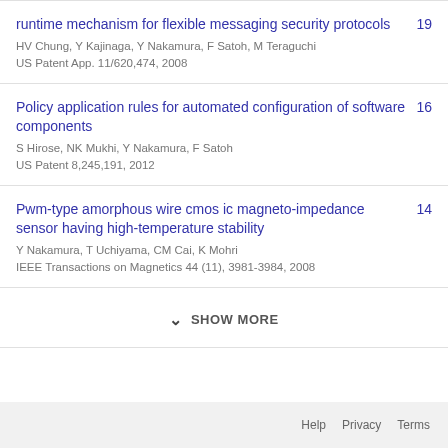runtime mechanism for flexible messaging security protocols
HV Chung, Y Kajinaga, Y Nakamura, F Satoh, M Teraguchi
US Patent App. 11/620,474, 2008
19
Policy application rules for automated configuration of software components
S Hirose, NK Mukhi, Y Nakamura, F Satoh
US Patent 8,245,191, 2012
16
Pwm-type amorphous wire cmos ic magneto-impedance sensor having high-temperature stability
Y Nakamura, T Uchiyama, CM Cai, K Mohri
IEEE Transactions on Magnetics 44 (11), 3981-3984, 2008
14
SHOW MORE
Help   Privacy   Terms